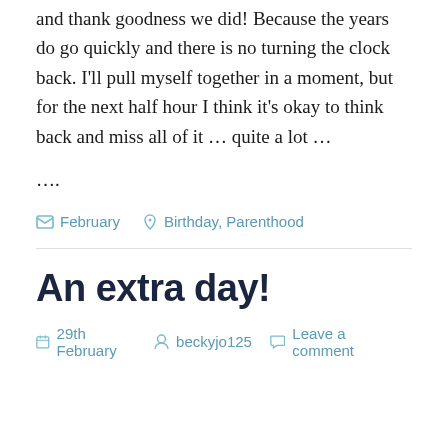and thank goodness we did! Because the years do go quickly and there is no turning the clock back. I'll pull myself together in a moment, but for the next half hour I think it's okay to think back and miss all of it … quite a lot …
….
February   Birthday, Parenthood
An extra day!
29th February   beckyjo125   Leave a comment